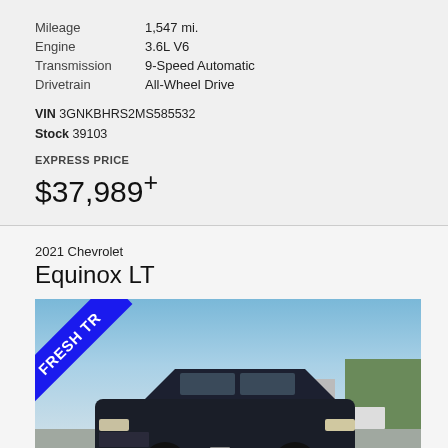| Mileage | 1,547 mi. |
| Engine | 3.6L V6 |
| Transmission | 9-Speed Automatic |
| Drivetrain | All-Wheel Drive |
VIN 3GNKBHRS2MS585532
Stock 39103
EXPRESS PRICE
$37,989+
2021 Chevrolet
Equinox LT
[Figure (photo): 2021 Chevrolet Equinox LT dark blue/black SUV parked in a lot, front three-quarter view. A blue 'FRESH TR[ADE]' diagonal ribbon banner is visible in the top-left corner of the photo.]